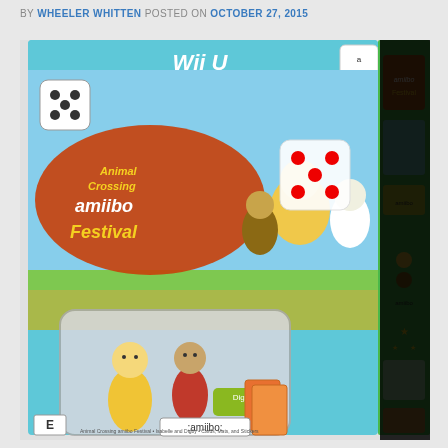BY WHEELER WHITTEN POSTED ON OCTOBER 27, 2015
[Figure (photo): Photo of Animal Crossing amiibo Festival Wii U game bundle box, showing the front and side of the box. The front displays the game title 'Animal Crossing amiibo Festival' with the Wii U logo and amiibo logo. The box includes Isabelle and Digby amiibo figures visible through a window cutout, along with cards. The side of the box is partially visible and partially covered by a black rectangle obscuring the right portion of the image.]